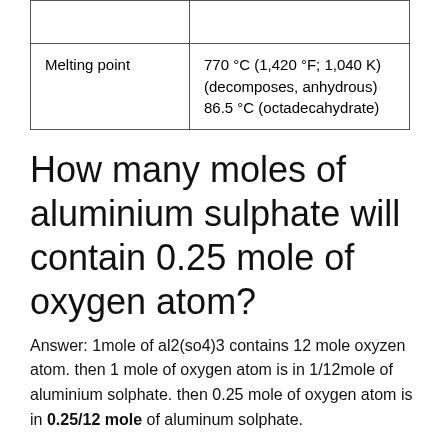|  |  |
| Melting point | 770 °C (1,420 °F; 1,040 K) (decomposes, anhydrous) 86.5 °C (octadecahydrate) |
How many moles of aluminium sulphate will contain 0.25 mole of oxygen atom?
Answer: 1mole of al2(so4)3 contains 12 mole oxyzen atom. then 1 mole of oxygen atom is in 1/12mole of aluminium solphate. then 0.25 mole of oxygen atom is in 0.25/12 mole of aluminum solphate.
How many grams is 5 moles